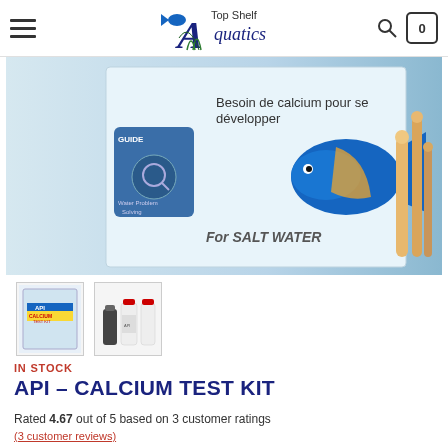Top Shelf Aquatics — navigation header with hamburger menu, logo, search and cart icons
[Figure (photo): API Calcium Test Kit product box showing a blue angelfish, coral, and text 'Besoin de calcium pour se développer' and 'For SALT WATER']
[Figure (photo): Two thumbnail images: first showing the API Calcium Test Kit box front, second showing the test kit bottles]
IN STOCK
API – CALCIUM TEST KIT
Rated 4.67 out of 5 based on 3 customer ratings
(3 customer reviews)